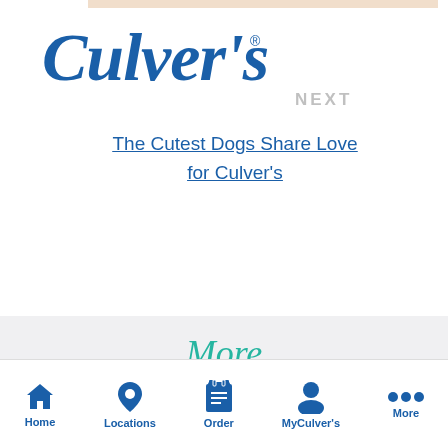[Figure (logo): Culver's logo in blue cursive script]
NEXT
The Cutest Dogs Share Love for Culver's
[Figure (photo): A black dog wearing a white Culver's branded bandana/bib, sitting on green grass]
More OUR COMMUNITIES STORIES
Home  Locations  Order  MyCulver's  More